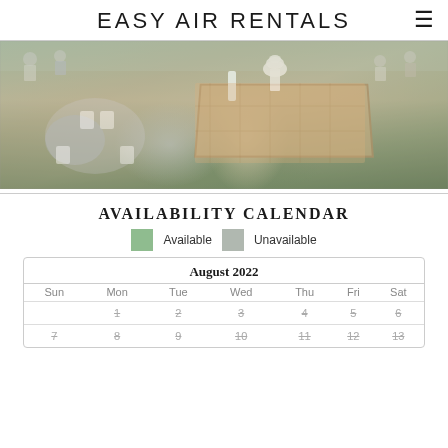EASY AIR RENTALS
[Figure (photo): Outdoor wedding reception with white folding chairs, round tables with gray tablecloths, a wedding cake on a dance floor, and guests in the background on green grass.]
AVAILABILITY CALENDAR
Available  Unavailable
| Sun | Mon | Tue | Wed | Thu | Fri | Sat |
| --- | --- | --- | --- | --- | --- | --- |
|  | 1 | 2 | 3 | 4 | 5 | 6 |
| 7 | 8 | 9 | 10 | 11 | 12 | 13 |